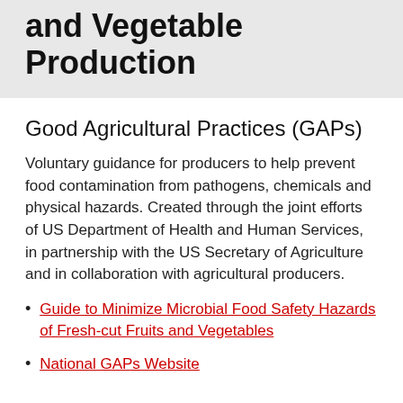and Vegetable Production
Good Agricultural Practices (GAPs)
Voluntary guidance for producers to help prevent food contamination from pathogens, chemicals and physical hazards. Created through the joint efforts of US Department of Health and Human Services, in partnership with the US Secretary of Agriculture and in collaboration with agricultural producers.
Guide to Minimize Microbial Food Safety Hazards of Fresh-cut Fruits and Vegetables
National GAPs Website